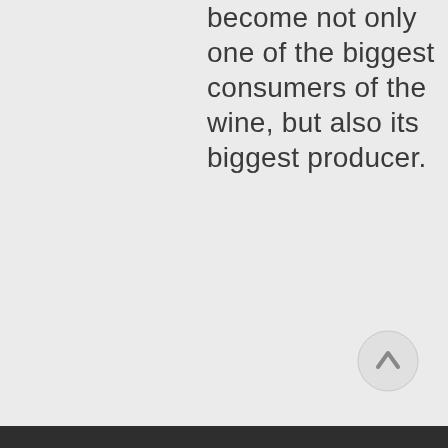become not only one of the biggest consumers of the wine, but also its biggest producer.
[Figure (other): Circular scroll-to-top button with an upward arrow icon]